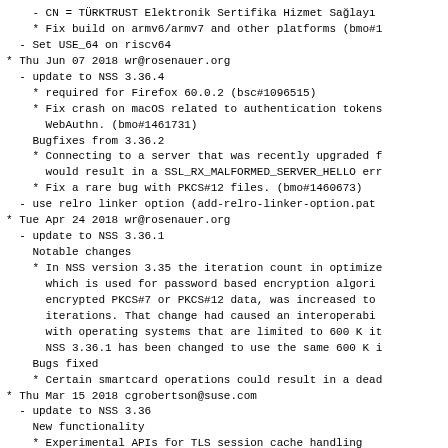- CN = TÜRKTRUST Elektronik Sertifika Hizmet Sağlayı...
* Fix build on armv6/armv7 and other platforms (bmo#1...
- Set USE_64 on riscv64
* Thu Jun 07 2018 wr@rosenauer.org
- update to NSS 3.36.4
* required for Firefox 60.0.2 (bsc#1096515)
* Fix crash on macOS related to authentication tokens WebAuthn. (bmo#1461731)
Bugfixes from 3.36.2
* Connecting to a server that was recently upgraded would result in a SSL_RX_MALFORMED_SERVER_HELLO err
* Fix a rare bug with PKCS#12 files. (bmo#1460673)
- use relro linker option (add-relro-linker-option.pat...
* Tue Apr 24 2018 wr@rosenauer.org
- update to NSS 3.36.1
Notable changes
* In NSS version 3.35 the iteration count in optimize which is used for password based encryption algori encrypted PKCS#7 or PKCS#12 data, was increased to iterations. That change had caused an interoperabi with operating systems that are limited to 600 K i NSS 3.36.1 has been changed to use the same 600 K
Bugs fixed
* Certain smartcard operations could result in a dea...
* Thu Mar 15 2018 cgrobertson@suse.com
- update to NSS 3.36
New functionality
* Experimental APIs for TLS session cache handling
Notable Changes
* Replaces existing vectorized ChaCha20 code with ve...